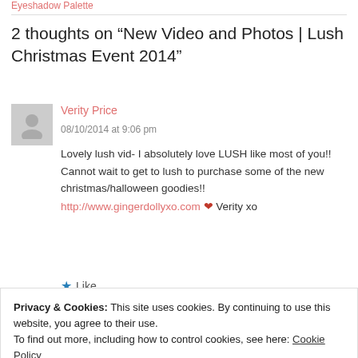Eyeshadow Palette
2 thoughts on “New Video and Photos | Lush Christmas Event 2014”
Verity Price
08/10/2014 at 9:06 pm
Lovely lush vid- I absolutely love LUSH like most of you!! Cannot wait to get to lush to purchase some of the new christmas/halloween goodies!! http://www.gingerdollyxo.com ❤ Verity xo
★ Like
Privacy & Cookies: This site uses cookies. By continuing to use this website, you agree to their use.
To find out more, including how to control cookies, see here: Cookie Policy